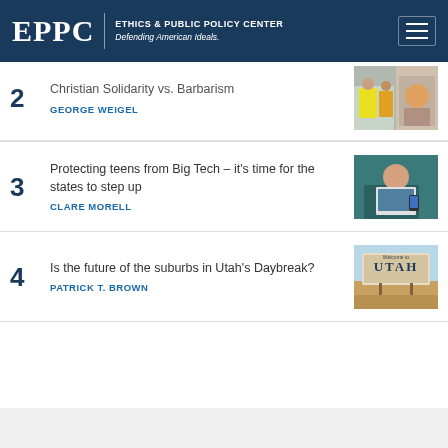EPPC | ETHICS & PUBLIC POLICY CENTER Defending American Ideals.
Christian Solidarity vs. Barbarism
GEORGE WEIGEL
Protecting teens from Big Tech – it's time for the states to step up
CLARE MORELL
Is the future of the suburbs in Utah's Daybreak?
PATRICK T. BROWN